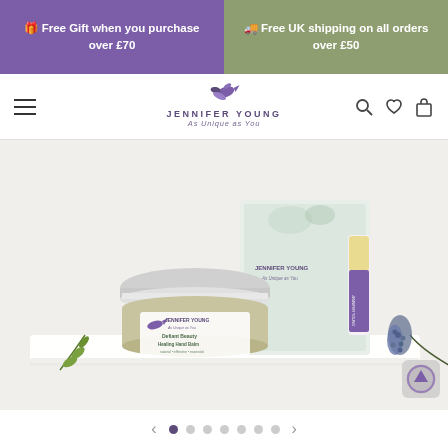🎁 Free Gift when you purchase over £70
🚚 Free UK shipping on all orders over £50
[Figure (logo): Jennifer Young logo with hummingbird and tagline 'As Unique as You']
[Figure (photo): Jennifer Young Defiant Beauty Healing Hand Balm product photo with box and lip balm, surrounded by green herbs and purple flowers on white surface]
Navigation dots carousel indicator with left and right arrows